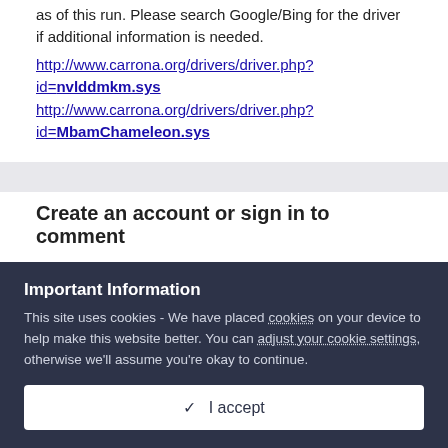as of this run. Please search Google/Bing for the driver if additional information is needed.
http://www.carrona.org/drivers/driver.php?id=nvlddmkm.sys
http://www.carrona.org/drivers/driver.php?id=MbamChameleon.sys
Create an account or sign in to comment
Important Information
This site uses cookies - We have placed cookies on your device to help make this website better. You can adjust your cookie settings, otherwise we'll assume you're okay to continue.
✓ I accept